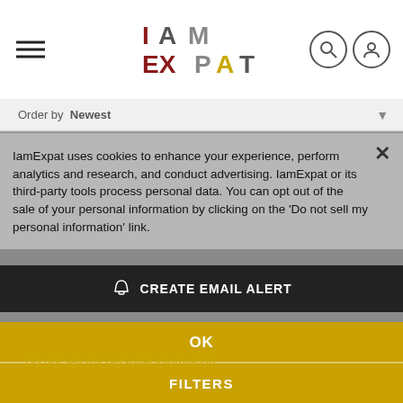IamExpat – navigation header with hamburger menu, logo, search and user icons
Order by Newest
IamExpat uses cookies to enhance your experience, perform analytics and research, and conduct advertising. IamExpat or its third-party tools process personal data. You can opt out of the sale of your personal information by clicking on the 'Do not sell my personal information' link.
CREATE EMAIL ALERT
11  Management / Consulting English-speaking jobs in Kiel, Germany
Do not sell my personal information
OK
FILTERS